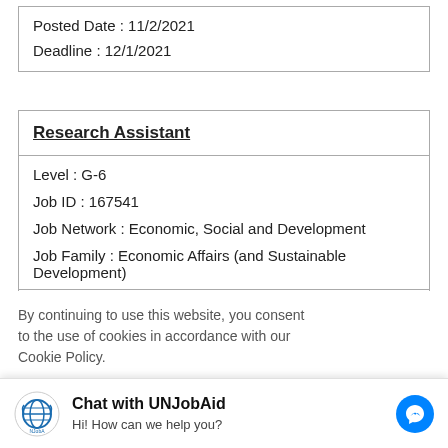Posted Date : 11/2/2021
Deadline : 12/1/2021
Research Assistant
Level : G-6
Job ID : 167541
Job Network : Economic, Social and Development
Job Family : Economic Affairs (and Sustainable Development)
ion for
By continuing to use this website, you consent to the use of cookies in accordance with our Cookie Policy.
Chat with UNJobAid
Hi! How can we help you?